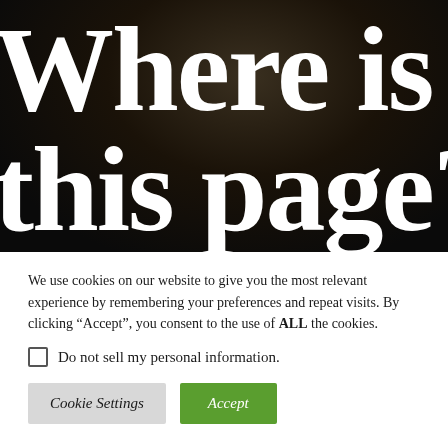Where is this page?
We use cookies on our website to give you the most relevant experience by remembering your preferences and repeat visits. By clicking “Accept”, you consent to the use of ALL the cookies.
Do not sell my personal information.
Cookie Settings  Accept